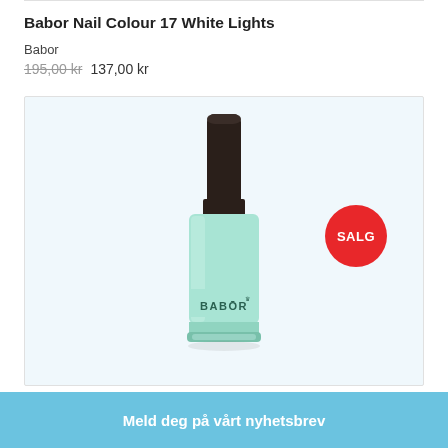Babor Nail Colour 17 White Lights
Babor
195,00 kr 137,00 kr
[Figure (photo): A mint/turquoise Babor nail polish bottle with a dark cylindrical cap, labeled BABOR, displayed on a light blue background. A red SALG (Sale) badge is in the top right corner.]
Meld deg på vårt nyhetsbrev